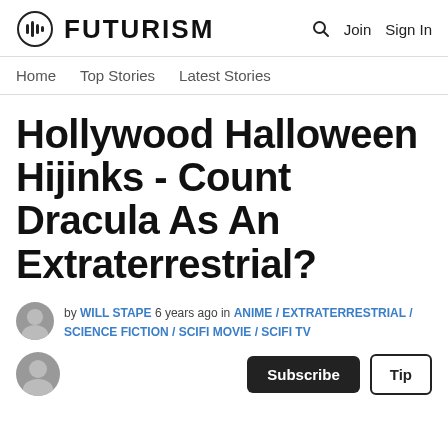FUTURISM — Join Sign In
Home | Top Stories | Latest Stories
Hollywood Halloween Hijinks - Count Dracula As An Extraterrestrial?
by WILL STAPE 6 years ago in ANIME / EXTRATERRESTRIAL / SCIENCE FICTION / SCIFI MOVIE / SCIFI TV